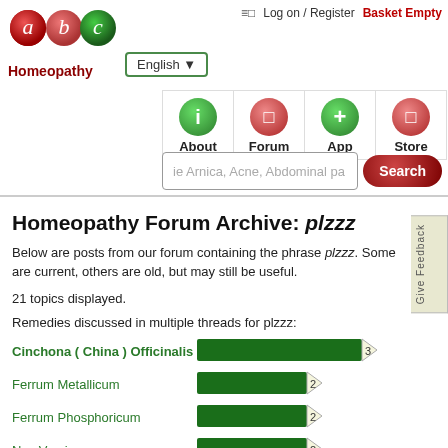abc Homeopathy | English | Log on / Register | Basket Empty | About | Forum | App | Store | Search
Homeopathy Forum Archive: plzzz
Below are posts from our forum containing the phrase plzzz. Some are current, others are old, but may still be useful.
21 topics displayed.
Remedies discussed in multiple threads for plzzz:
[Figure (bar-chart): Remedies discussed in multiple threads for plzzz]